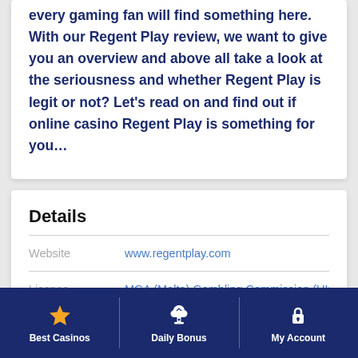every gaming fan will find something here. With our Regent Play review, we want to give you an overview and above all take a look at the seriousness and whether Regent Play is legit or not? Let's read on and find out if online casino Regent Play is something for you…
Details
|  |  |
| --- | --- |
| Website | www.regentplay.com |
| License | MGA (Malta) Gambling Commission (UK) |
Best Casinos | Daily Bonus | My Account